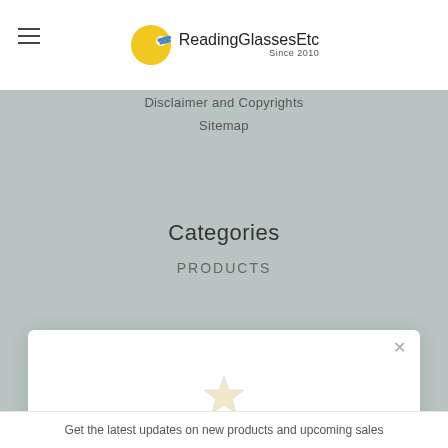ReadingGlassesEtc Since 2010
Disclaimer and Copyrights
Sitemap
Categories
PRODUCTS
Unlock exclusive rewards and perks
Sign up or Log in
Sign up
Already have an account? Sign in
Get the latest updates on new products and upcoming sales